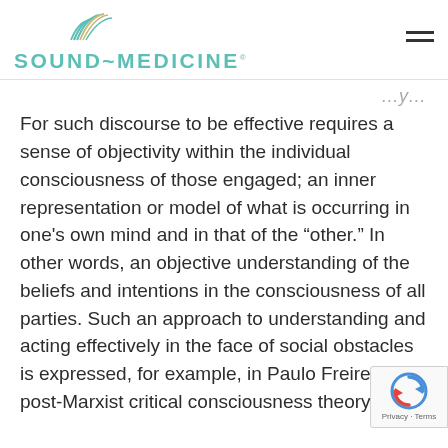SOUND~MEDICINE
For such discourse to be effective requires a sense of objectivity within the individual consciousness of those engaged; an inner representation or model of what is occurring in one's own mind and in that of the “other.” In other words, an objective understanding of the beliefs and intentions in the consciousness of all parties. Such an approach to understanding and acting effectively in the face of social obstacles is expressed, for example, in Paulo Freire’s post-Marxist critical consciousness theory.